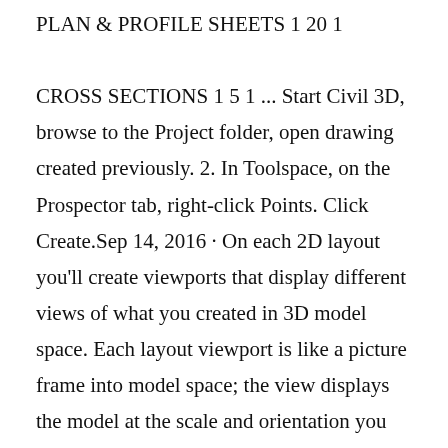PLAN & PROFILE SHEETS 1 20 1 CROSS SECTIONS 1 5 1 ... Start Civil 3D, browse to the Project folder, open drawing created previously. 2. In Toolspace, on the Prospector tab, right-click Points. Click Create.Sep 14, 2016 · On each 2D layout you'll create viewports that display different views of what you created in 3D model space. Each layout viewport is like a picture frame into model space; the view displays the model at the scale and orientation you